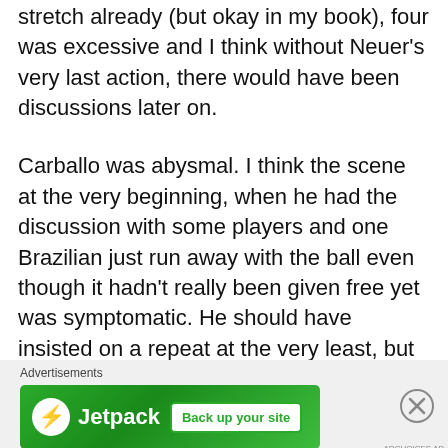the game play, two minutes would have been a stretch already (but okay in my book), four was excessive and I think without Neuer's very last action, there would have been discussions later on.
Carballo was abysmal. I think the scene at the very beginning, when he had the discussion with some players and one Brazilian just run away with the ball even though it hadn't really been given free yet was symptomatic. He should have insisted on a repeat at the very least, but he just allowed the action, and from this point onward the players were basically doing whatever they wanted. There were one situation which was a
Advertisements
[Figure (other): Jetpack advertisement banner with green background, Jetpack logo (lightning bolt in white circle), brand name 'Jetpack' in white, and a 'Back up your site' button in white with green text.]